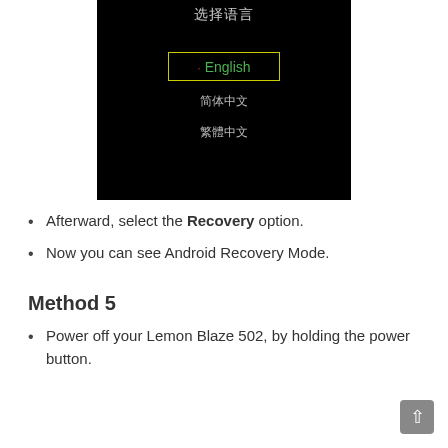[Figure (screenshot): Android language selection screen showing Chinese title '选择语言' with English selected (highlighted in yellow box with green text and red dot), followed by 简体中文 and 繁體中文 options on black background.]
Afterward, select the Recovery option.
Now you can see Android Recovery Mode.
Method 5
Power off your Lemon Blaze 502, by holding the power button.